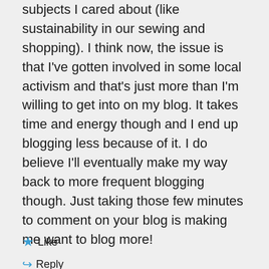subjects I cared about (like sustainability in our sewing and shopping). I think now, the issue is that I've gotten involved in some local activism and that's just more than I'm willing to get into on my blog. It takes time and energy though and I end up blogging less because of it. I do believe I'll eventually make my way back to more frequent blogging though. Just taking those few minutes to comment on your blog is making me want to blog more!
★ Like
↳ Reply